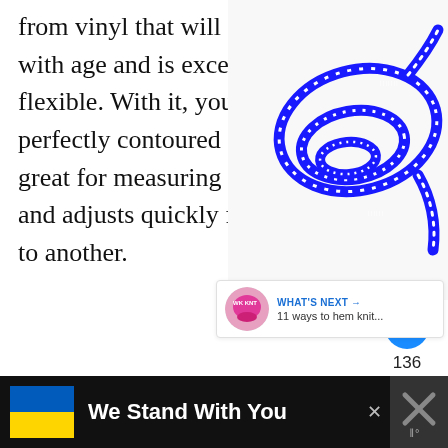from vinyl that will not discolor with age and is exceptionally flexible. With it, you can draw a perfectly contoured curve. It is also great for measuring curved seams and adjusts quickly from one shape to another.
[Figure (photo): A coiled blue flexible ruler/curve tool on a white background]
[Figure (infographic): Heart/like button (blue circle with heart icon), like count 136, share button]
[Figure (infographic): WHAT'S NEXT arrow label with pink sewing cap image and text: 11 ways to hem knit...]
[Figure (infographic): Advertisement banner: Ukraine flag colors, We Stand With You text, close X button, right icon with X and degree symbol]